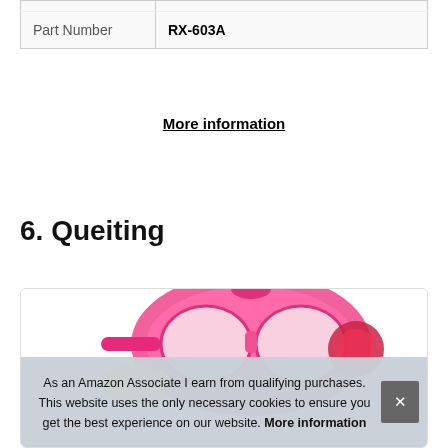|  |  |
| --- | --- |
| Part Number | RX-603A |
More information
6. Queiting
[Figure (photo): Pink toy product (appears to be a pink diving mask or similar toy) shown inside a rounded card/box container]
As an Amazon Associate I earn from qualifying purchases. This website uses the only necessary cookies to ensure you get the best experience on our website. More information